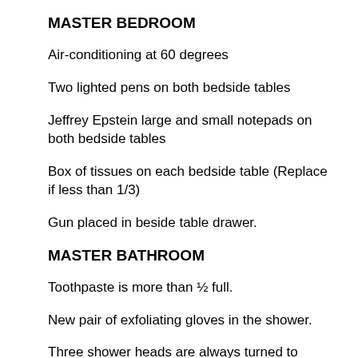MASTER BEDROOM
Air-conditioning at 60 degrees
Two lighted pens on both bedside tables
Jeffrey Epstein large and small notepads on both bedside tables
Box of tissues on each bedside table (Replace if less than 1/3)
Gun placed in beside table drawer.
MASTER BATHROOM
Toothpaste is more than ½ full.
New pair of exfoliating gloves in the shower.
Three shower heads are always turned to...